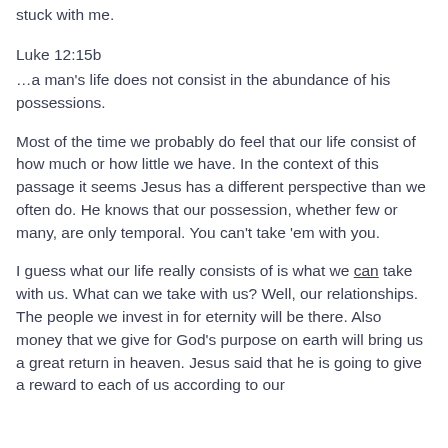stuck with me.
Luke 12:15b
…a man's life does not consist in the abundance of his possessions.
Most of the time we probably do feel that our life consist of how much or how little we have.  In the context of this passage it seems Jesus has a different perspective than we often do.  He knows that our possession, whether few or many, are only temporal.  You can't take 'em with you.
I guess what our life really consists of is what we can take with us.  What can we take with us?  Well, our relationships.  The people we invest in for eternity will be there.  Also money that we give for God's purpose on earth will bring us a great return in heaven.  Jesus said that he is going to give a reward to each of us according to our